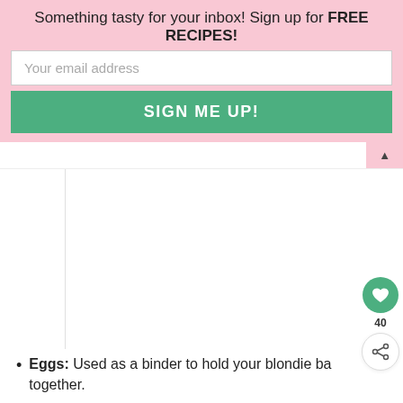Something tasty for your inbox! Sign up for FREE RECIPES!
Your email address
SIGN ME UP!
[Figure (other): Blank white content area representing an image placeholder with a floating heart button (40 likes) and share button]
Eggs: Used as a binder to hold your blondie ba together.
Vanilla: Ties your flavors together in perfect delicious harmony!
Baking powder: Gives your bars their height and
WHAT'S NEXT → Cilantro Lime Pasta Salad